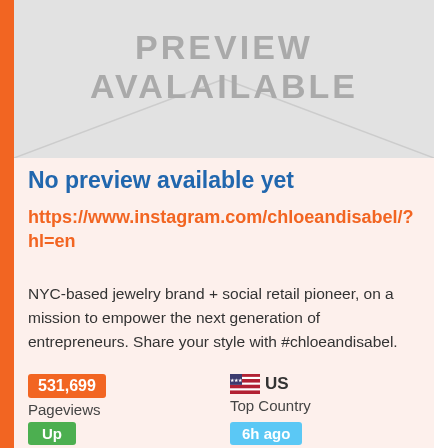[Figure (illustration): Placeholder image with envelope lines and text 'PREVIEW AVALAILABLE' in gray]
No preview available yet
https://www.instagram.com/chloeandisabel/?hl=en
NYC-based jewelry brand + social retail pioneer, on a mission to empower the next generation of entrepreneurs. Share your style with #chloeandisabel.
531,699
Pageviews
US
Top Country
Up
Site Status
6h ago
Last Pinged